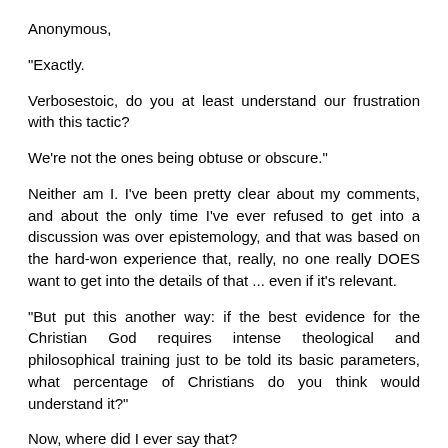Anonymous,
"Exactly.
Verbosestoic, do you at least understand our frustration with this tactic?
We're not the ones being obtuse or obscure."
Neither am I. I've been pretty clear about my comments, and about the only time I've ever refused to get into a discussion was over epistemology, and that was based on the hard-won experience that, really, no one really DOES want to get into the details of that ... even if it's relevant.
"But put this another way: if the best evidence for the Christian God requires intense theological and philosophical training just to be told its basic parameters, what percentage of Christians do you think would understand it?"
Now, where did I ever say that?